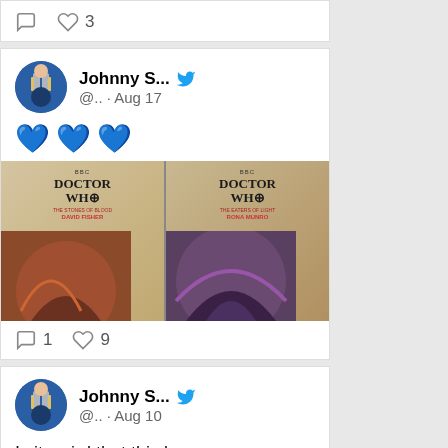[Figure (screenshot): Tweet footer with comment bubble icon and heart icon with count '3']
[Figure (screenshot): Tweet by Johnny S... (@.. · Aug 17) with blue heart emojis and two Doctor Who book cover photo]
[Figure (photo): Two Doctor Who book covers side by side - 'The Stones of Blood by David Fisher' and 'The Eaters of Light by Rona Munro']
[Figure (screenshot): Tweet footer showing 1 comment and 9 likes]
[Figure (screenshot): Tweet by Johnny S... (@.. · Aug 10) with text: Is it weird that this bogus promo new report references current news events like Ukraine]